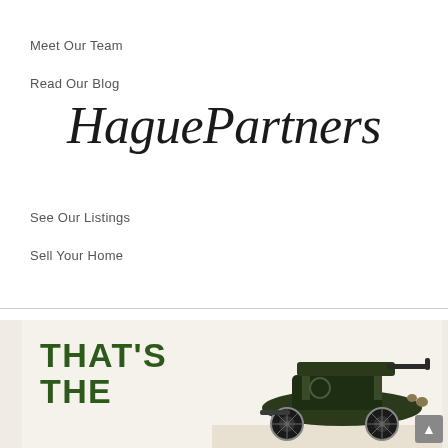Meet Our Team
Read Our Blog
[Figure (logo): Hague Partners script logo in elegant italic serif font]
See Our Listings
Sell Your Home
[Figure (photo): Banner with text 'THAT'S THE' in bold green uppercase letters alongside an image of a vintage antique automobile on a light background]